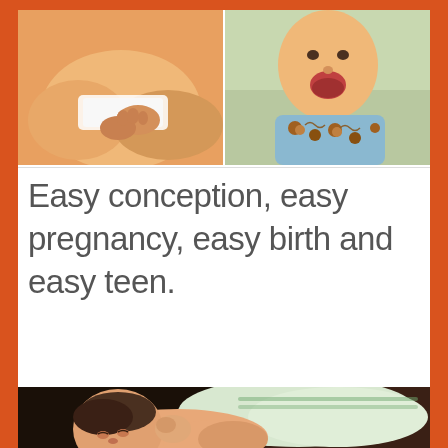[Figure (photo): Two baby photos side by side at top: left photo shows a baby with a white bandage/diaper area, right photo shows a baby in a monkey-print bib/onesie with mouth open]
Easy conception, easy pregnancy, easy birth and easy teen.
[Figure (photo): Bottom photo showing a newborn baby lying on a towel, close-up view]